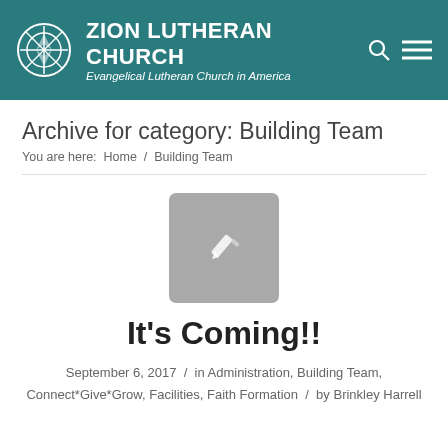ZION LUTHERAN CHURCH Evangelical Lutheran Church in America
Archive for category: Building Team
You are here:  Home  /  Building Team
[Figure (illustration): Gray rounded-rectangle placeholder thumbnail with a white pencil/edit icon in the center]
It's Coming!!
September 6, 2017  /  in Administration, Building Team, Connect*Give*Grow, Facilities, Faith Formation  /  by Brinkley Harrell